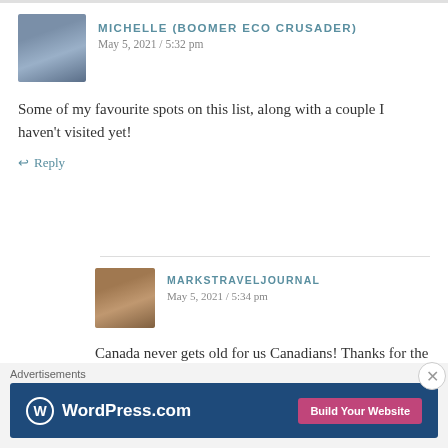MICHELLE (BOOMER ECO CRUSADER)
May 5, 2021 / 5:32 pm
Some of my favourite spots on this list, along with a couple I haven't visited yet!
Reply
MARKSTRAVELJOURNAL
May 5, 2021 / 5:34 pm
Canada never gets old for us Canadians! Thanks for the comments.
Reply
Advertisements
[Figure (logo): WordPress.com advertisement banner with 'Build Your Website' button]